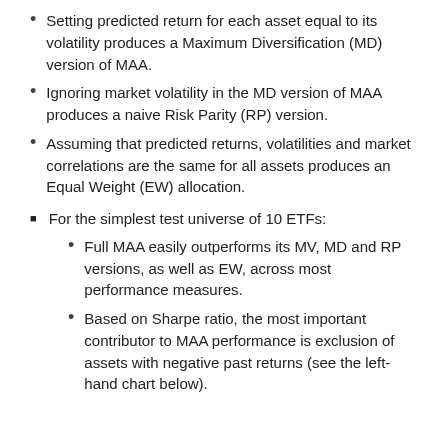Setting predicted return for each asset equal to its volatility produces a Maximum Diversification (MD) version of MAA.
Ignoring market volatility in the MD version of MAA produces a naive Risk Parity (RP) version.
Assuming that predicted returns, volatilities and market correlations are the same for all assets produces an Equal Weight (EW) allocation.
For the simplest test universe of 10 ETFs:
Full MAA easily outperforms its MV, MD and RP versions, as well as EW, across most performance measures.
Based on Sharpe ratio, the most important contributor to MAA performance is exclusion of assets with negative past returns (see the left-hand chart below).